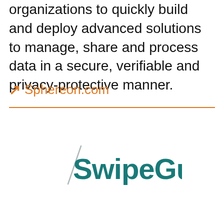organizations to quickly build and deploy advanced solutions to manage, share and process data in a secure, verifiable and privacy-protective manner.
↗ Sphereon.com
[Figure (logo): SwipeGuide. company logo in teal/dark cyan color with a diagonal line accent through the S]